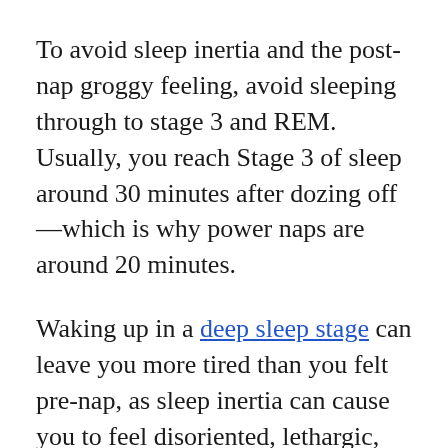To avoid sleep inertia and the post-nap groggy feeling, avoid sleeping through to stage 3 and REM. Usually, you reach Stage 3 of sleep around 30 minutes after dozing off—which is why power naps are around 20 minutes.
Waking up in a deep sleep stage can leave you more tired than you felt pre-nap, as sleep inertia can cause you to feel disoriented, lethargic, and most of all, fatigued. That's why timing your power nap right is crucial for success.
But remember, habitual napping is not a solution for poor sleeping habits. A power nap cannot replace the